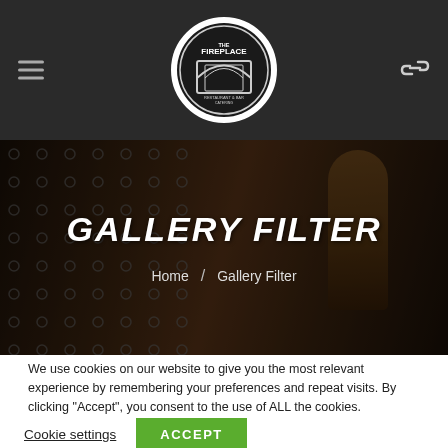[Figure (logo): The Fireplace restaurant circular logo with white border on dark header background]
GALLERY FILTER
Home / Gallery Filter
We use cookies on our website to give you the most relevant experience by remembering your preferences and repeat visits. By clicking “Accept”, you consent to the use of ALL the cookies.
Cookie settings
ACCEPT